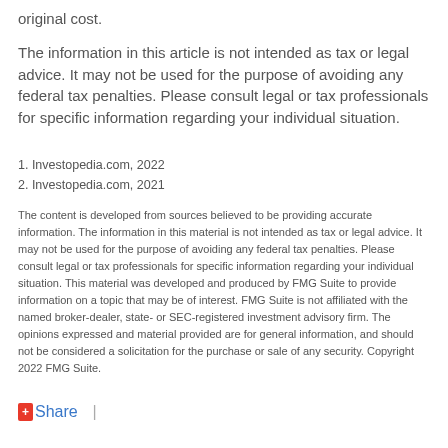original cost.
The information in this article is not intended as tax or legal advice. It may not be used for the purpose of avoiding any federal tax penalties. Please consult legal or tax professionals for specific information regarding your individual situation.
1. Investopedia.com, 2022
2. Investopedia.com, 2021
The content is developed from sources believed to be providing accurate information. The information in this material is not intended as tax or legal advice. It may not be used for the purpose of avoiding any federal tax penalties. Please consult legal or tax professionals for specific information regarding your individual situation. This material was developed and produced by FMG Suite to provide information on a topic that may be of interest. FMG Suite is not affiliated with the named broker-dealer, state- or SEC-registered investment advisory firm. The opinions expressed and material provided are for general information, and should not be considered a solicitation for the purchase or sale of any security. Copyright 2022 FMG Suite.
Share |